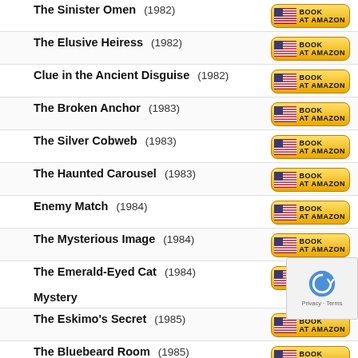The Sinister Omen (1982)
The Elusive Heiress (1982)
Clue in the Ancient Disguise (1982)
The Broken Anchor (1983)
The Silver Cobweb (1983)
The Haunted Carousel (1983)
Enemy Match (1984)
The Mysterious Image (1984)
The Emerald-Eyed Cat Mystery (1984)
The Eskimo's Secret (1985)
The Bluebeard Room (1985)
The Phantom of Venice (1985)
The Double Horror of Fenley Place (1987)
The Case of the Disappearing Diamonds (1987)
The Mardi Gras Mystery (1988)
The Clue in the Camera (1988)